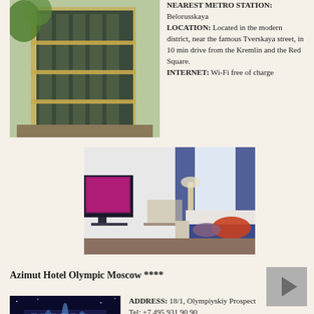[Figure (photo): Exterior of a tall modern hotel building with reflective glass windows and yellow accents, surrounded by trees]
NEAREST METRO STATION: Belorusskaya LOCATION: Located in the modern district, near the famous Tverskaya street, in 10 min drive from the Kremlin and the Red Square. INTERNET: Wi-Fi free of charge
[Figure (photo): Modern hotel room interior with blue curtains, a large TV, a bed with dark blue and orange bedding, and a desk with a lamp]
Azimut Hotel Olympic Moscow ****
[Figure (photo): Nighttime exterior of a hotel building with blue lighting and illuminated spires]
ADDRESS: 18/1, Olympiyskiy Prospect Tel: +7 495 931 90 90